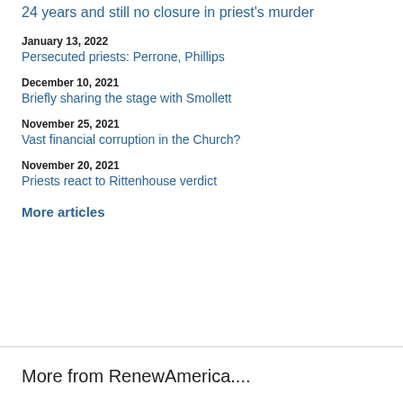24 years and still no closure in priest's murder
January 13, 2022
Persecuted priests: Perrone, Phillips
December 10, 2021
Briefly sharing the stage with Smollett
November 25, 2021
Vast financial corruption in the Church?
November 20, 2021
Priests react to Rittenhouse verdict
More articles
More from RenewAmerica....